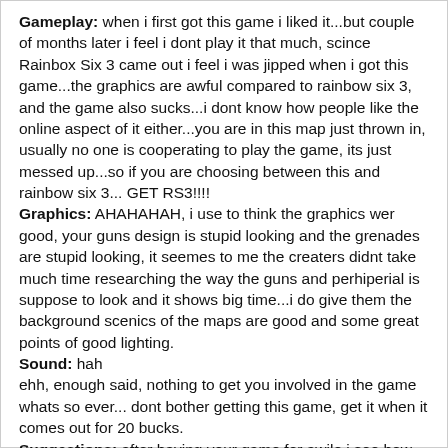Gameplay: when i first got this game i liked it...but couple of months later i feel i dont play it that much, scince Rainbox Six 3 came out i feel i was jipped when i got this game...the graphics are awful compared to rainbow six 3, and the game also sucks...i dont know how people like the online aspect of it either...you are in this map just thrown in, usually no one is cooperating to play the game, its just messed up...so if you are choosing between this and rainbow six 3... GET RS3!!!!
Graphics: AHAHAHAH, i use to think the graphics wer good, your guns design is stupid looking and the grenades are stupid looking, it seemes to me the creaters didnt take much time researching the way the guns and perhiperial is suppose to look and it shows big time...i do give them the background scenics of the maps are good and some great points of good lighting.
Sound: hah
ehh, enough said, nothing to get you involved in the game whats so ever... dont bother getting this game, get it when it comes out for 20 bucks.
Suggestions: after having your game for awile i see how other games in your ganre can be sooo much better...try looking at rainbow six for example, get some ideas from